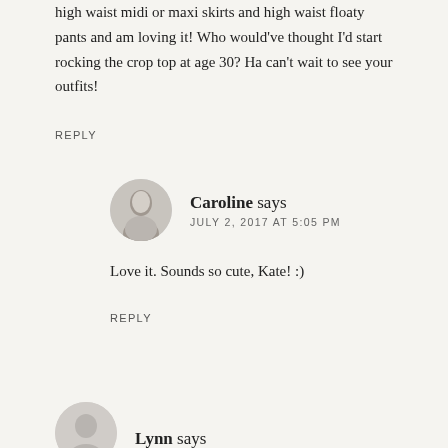high waist midi or maxi skirts and high waist floaty pants and am loving it! Who would've thought I'd start rocking the crop top at age 30? Ha can't wait to see your outfits!
REPLY
Caroline says
JULY 2, 2017 AT 5:05 PM
Love it. Sounds so cute, Kate! :)
REPLY
Lynn says
JUNE 29, 2017 AT 7:36 PM